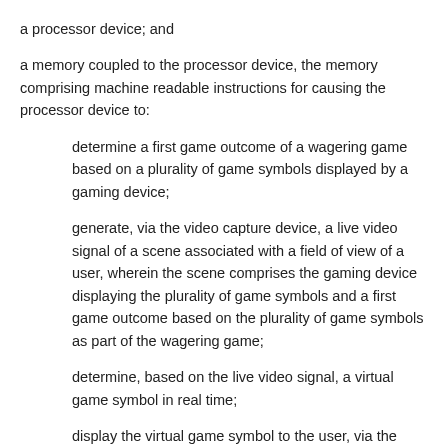a processor device; and
a memory coupled to the processor device, the memory comprising machine readable instructions for causing the processor device to:
determine a first game outcome of a wagering game based on a plurality of game symbols displayed by a gaming device;
generate, via the video capture device, a live video signal of a scene associated with a field of view of a user, wherein the scene comprises the gaming device displaying the plurality of game symbols and a first game outcome based on the plurality of game symbols as part of the wagering game;
determine, based on the live video signal, a virtual game symbol in real time;
display the virtual game symbol to the user, via the display, as part of the scene so that the virtual game symbol is associated with the gaming device in a mixed reality interface,